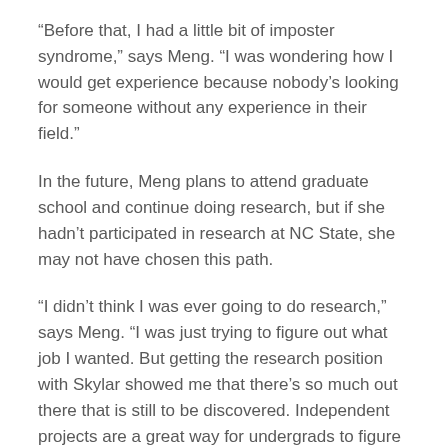“Before that, I had a little bit of imposter syndrome,” says Meng. “I was wondering how I would get experience because nobody’s looking for someone without any experience in their field.”
In the future, Meng plans to attend graduate school and continue doing research, but if she hadn’t participated in research at NC State, she may not have chosen this path.
“I didn’t think I was ever going to do research,” says Meng. “I was just trying to figure out what job I wanted. But getting the research position with Skylar showed me that there’s so much out there that is still to be discovered. Independent projects are a great way for undergrads to figure out if research is something they want to do.”